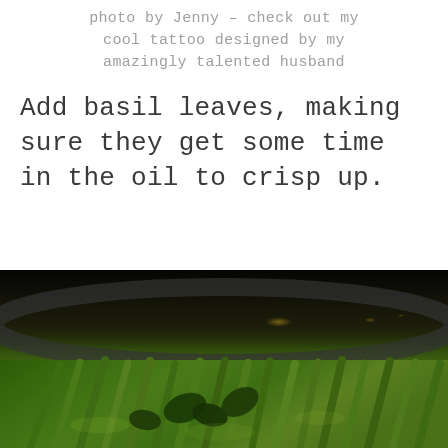photo by Jenny – check out my cool tattoo designed by my amazingly talented husband
Add basil leaves, making sure they get some time in the oil to crisp up.
[Figure (photo): Close-up food photograph of green asparagus or green beans with basil leaves cooking in a pan with oil, dark background from a pan rim visible at the top.]